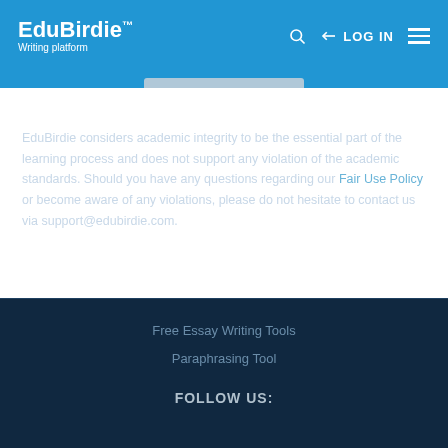EduBirdie™ Writing platform
FAIR USE POLICY
EduBirdie considers academic integrity to be the essential part of the learning process and does not support any violation of the academic standards. Should you have any questions regarding our Fair Use Policy or become aware of any violations, please do not hesitate to contact us via support@edubirdie.com.
Free Essay Writing Tools
Paraphrasing Tool
FOLLOW US: